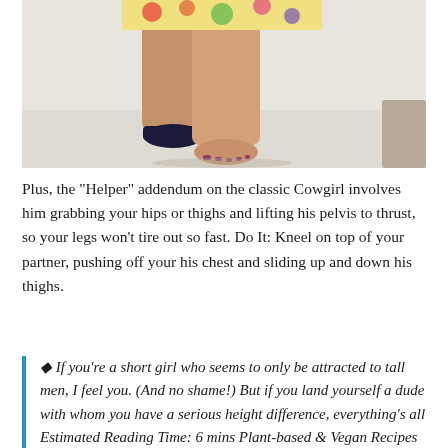[Figure (photo): Photo of a person's legs from the knees down, one foot bare and one wearing a dark shoe with a floral dress/skirt visible at the top. Light-colored floor and wall in background.]
Plus, the "Helper" addendum on the classic Cowgirl involves him grabbing your hips or thighs and lifting his pelvis to thrust, so your legs won't tire out so fast. Do It: Kneel on top of your partner, pushing off your his chest and sliding up and down his thighs.
◆ If you're a short girl who seems to only be attracted to tall men, I feel you. (And no shame!) But if you land yourself a dude with whom you have a serious height difference, everything's all Estimated Reading Time: 6 mins Plant-based & Vegan Recipes everyone will love! A mix of easy, healthy,